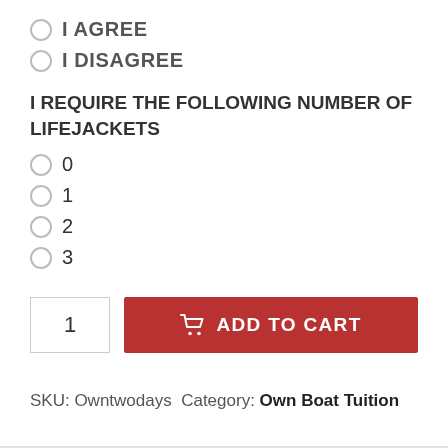I AGREE
I DISAGREE
I REQUIRE THE FOLLOWING NUMBER OF LIFEJACKETS
0
1
2
3
1  ADD TO CART
SKU: Owntwodays Category: Own Boat Tuition